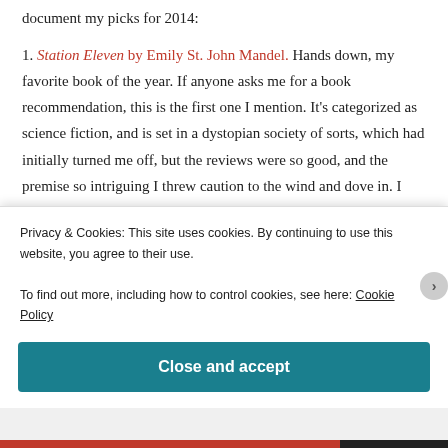document my picks for 2014:
1. Station Eleven by Emily St. John Mandel. Hands down, my favorite book of the year. If anyone asks me for a book recommendation, this is the first one I mention. It's categorized as science fiction, and is set in a dystopian society of sorts, which had initially turned me off, but the reviews were so good, and the premise so intriguing I threw caution to the wind and dove in. I stayed up very late to finish this book. It's an intense
Privacy & Cookies: This site uses cookies. By continuing to use this website, you agree to their use.
To find out more, including how to control cookies, see here: Cookie Policy
Close and accept